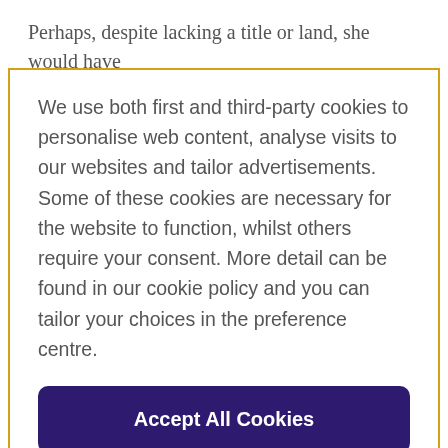Perhaps, despite lacking a title or land, she would have learned enough Latin from her brother to write her own
We use both first and third-party cookies to personalise web content, analyse visits to our websites and tailor advertisements. Some of these cookies are necessary for the website to function, whilst others require your consent. More detail can be found in our cookie policy and you can tailor your choices in the preference centre.
Accept All Cookies
Cookies Settings